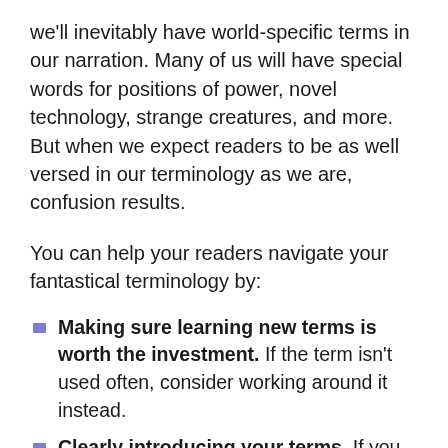we'll inevitably have world-specific terms in our narration. Many of us will have special words for positions of power, novel technology, strange creatures, and more. But when we expect readers to be as well versed in our terminology as we are, confusion results.
You can help your readers navigate your fantastical terminology by:
Making sure learning new terms is worth the investment. If the term isn't used often, consider working around it instead.
Clearly introducing your terms. If you don't have an ignorant character to explain your